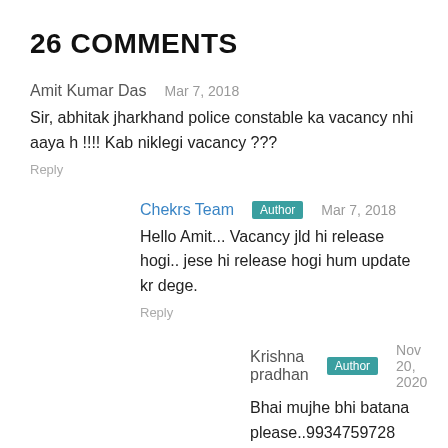26 COMMENTS
Amit Kumar Das   Mar 7, 2018
Sir, abhitak jharkhand police constable ka vacancy nhi aaya h !!!! Kab niklegi vacancy ???
Reply
Chekrs Team  Author  Mar 7, 2018
Hello Amit... Vacancy jld hi release hogi.. jese hi release hogi hum update kr dege.
Reply
Krishna pradhan  Author  Nov 20, 2020
Bhai mujhe bhi batana please..9934759728